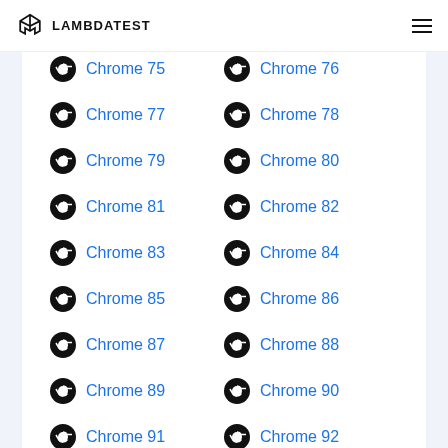LAMBDATEST
Chrome 75
Chrome 76
Chrome 77
Chrome 78
Chrome 79
Chrome 80
Chrome 81
Chrome 82
Chrome 83
Chrome 84
Chrome 85
Chrome 86
Chrome 87
Chrome 88
Chrome 89
Chrome 90
Chrome 91
Chrome 92